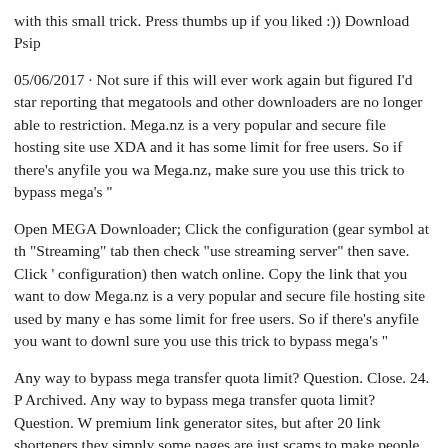with this small trick. Press thumbs up if you liked :)) Download Psip
05/06/2017 · Not sure if this will ever work again but figured I'd start reporting that megatools and other downloaders are no longer able to restriction. Mega.nz is a very popular and secure file hosting site use XDA and it has some limit for free users. So if there's anyfile you wa Mega.nz, make sure you use this trick to bypass mega's "
Open MEGA Downloader; Click the configuration (gear symbol at th "Streaming" tab then check "use streaming server" then save. Click ' configuration) then watch online. Copy the link that you want to dow Mega.nz is a very popular and secure file hosting site used by many e has some limit for free users. So if there's anyfile you want to downl sure you use this trick to bypass mega's "
Any way to bypass mega transfer quota limit? Question. Close. 24. P Archived. Any way to bypass mega transfer quota limit? Question. W premium link generator sites, but after 20 link shorteners they simply some pages are just scams to make people see link shorteners. Somet